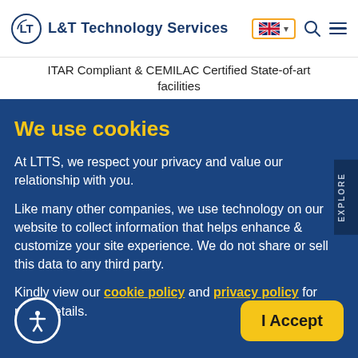[Figure (logo): L&T Technology Services logo with circular LT emblem and text]
ITAR Compliant & CEMILAC Certified State-of-art facilities
We use cookies
At LTTS, we respect your privacy and value our relationship with you.
Like many other companies, we use technology on our website to collect information that helps enhance & customize your site experience. We do not share or sell this data to any third party.
Kindly view our cookie policy and privacy policy for more details.